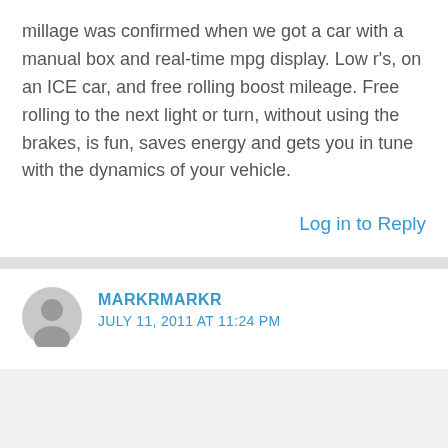millage was confirmed when we got a car with a manual box and real-time mpg display. Low r's, on an ICE car, and free rolling boost mileage. Free rolling to the next light or turn, without using the brakes, is fun, saves energy and gets you in tune with the dynamics of your vehicle.
Log in to Reply
MARKRMARKR
JULY 11, 2011 AT 11:24 PM